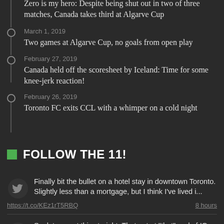Zero is my hero: Despite being shut out in two of three matches, Canada takes third at Algarve Cup
March 1, 2019
Two games at Algarve Cup, no goals from open play
February 27, 2019
Canada held off the scoresheet by Iceland: Time for some knee-jerk reaction!
February 26, 2019
Toronto FC exits CCL with a whimper on a cold night
FOLLOW THE 11!
Finally bit the bullet on a hotel stay in downtown Toronto. Slightly less than a mortgage, but I think I've lived i...
https://t.co/KEz1rT5RBQ
8 hours
So, let me get this straight: That net at "that" end of IG Field has some sort of magic force field that prevents s...